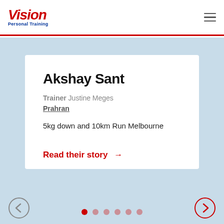VISION Personal Training
Akshay Sant
Trainer Justine Meges
Prahran
5kg down and 10km Run Melbourne
Read their story →